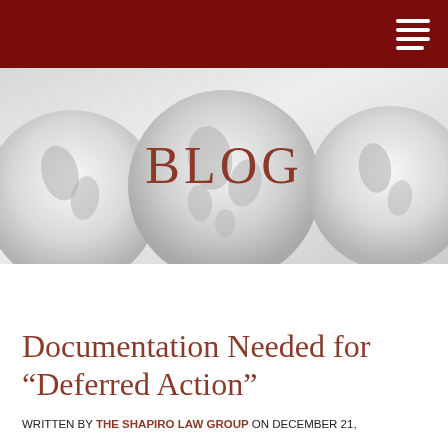[Figure (illustration): Blog banner image with three silver/grey globe icons on a light grey gradient background, with the word BLOG in dark red serif text centered over the middle globe]
Call Now: (847) 564-0712
Documentation Needed for “Deferred Action”
WRITTEN BY THE SHAPIRO LAW GROUP ON DECEMBER 21, 2012